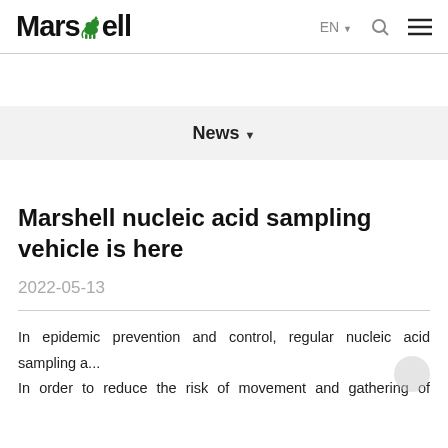Marshell | EN | navigation icons
News
Marshell nucleic acid sampling vehicle is here
2022-05-13
In epidemic prevention and control, regular nucleic acid sampling a... In order to reduce the risk of movement and gathering of people, and especially to create a comfortable and convenient working en...